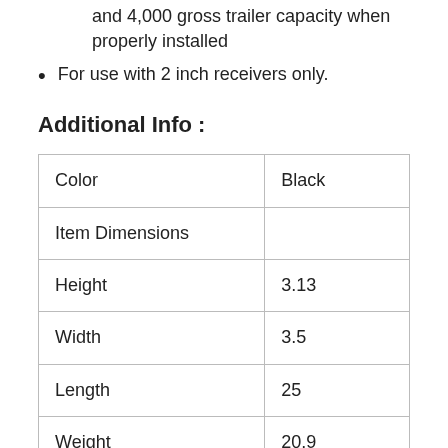and 4,000 gross trailer capacity when properly installed
For use with 2 inch receivers only.
Additional Info :
| Color | Black |
| Item Dimensions |  |
| Height | 3.13 |
| Width | 3.5 |
| Length | 25 |
| Weight | 20.9 |